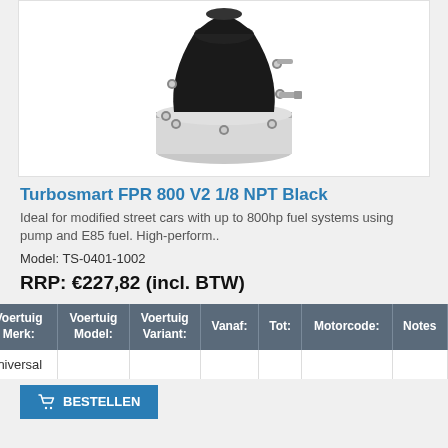[Figure (photo): Turbosmart FPR 800 V2 1/8 NPT Black fuel pressure regulator product photo. Black conical top with silver/chrome base, multiple bolt fittings visible around the rim.]
Turbosmart FPR 800 V2 1/8 NPT Black
Ideal for modified street cars with up to 800hp fuel systems using pump and E85 fuel. High-perform..
Model: TS-0401-1002
RRP: €227,82 (incl. BTW)
| Voertuig Merk: | Voertuig Model: | Voertuig Variant: | Vanaf: | Tot: | Motorcode: | Notes |
| --- | --- | --- | --- | --- | --- | --- |
| Universal |  |  |  |  |  |  |
BESTELLEN